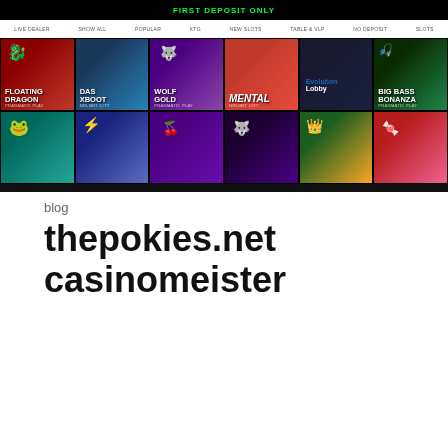[Figure (screenshot): Casino website screenshot showing FIRST DEPOSIT ONLY banner in green text on black background, navigation bar, and game grid with slots including Floating Dragon, Das Xboot, Wolf Gold, Mental, Evolution Lobby, Big Bass Bonanza in row 1, and game thumbnails in row 2]
blog
thepokies.net casinomeister
[Figure (screenshot): ThePokies.net website screenshot showing top navigation bar with logo and Register/Login buttons, live casino category tabs, and game thumbnails: 2 Hand Casino Hold'em, Baccarat Live, Caribbean Stud Poker Live, Casino Hold'em, Craps Live, with a red chat bubble in bottom right]